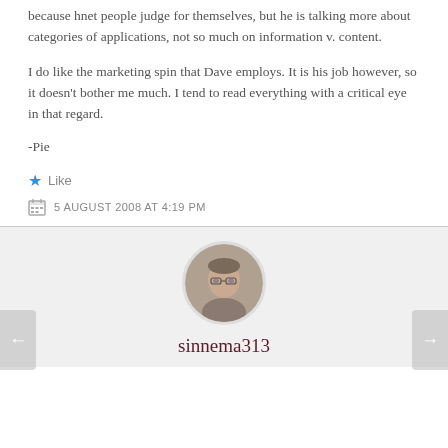because hnet people judge for themselves, but he is talking more about categories of applications, not so much on information v. content.
I do like the marketing spin that Dave employs. It is his job however, so it doesn't bother me much. I tend to read everything with a critical eye in that regard.
-Pie
Like
5 AUGUST 2008 AT 4:19 PM
[Figure (photo): Circular avatar photo of a man with glasses and short hair, viewed from above slightly]
sinnema313